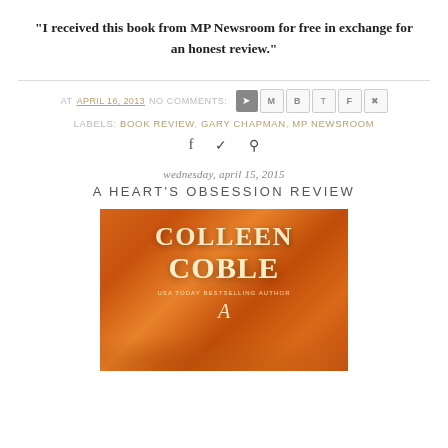"I received this book from MP Newsroom for free in exchange for an honest review."
AT APRIL 16, 2015  NO COMMENTS:  LABELS: BOOK REVIEW, GARY CHAPMAN, MP NEWSROOM
wednesday, april 15, 2015
A HEART'S OBSESSION REVIEW
[Figure (photo): Book cover for A Heart's Obsession by Colleen Coble, USA Today Bestselling Author. Orange/amber background with cloudy texture. Large white serif text reads COLLEEN COBLE. Smaller text below reads USA TODAY BESTSELLING AUTHOR. Bottom shows beginning of title with letter A.]